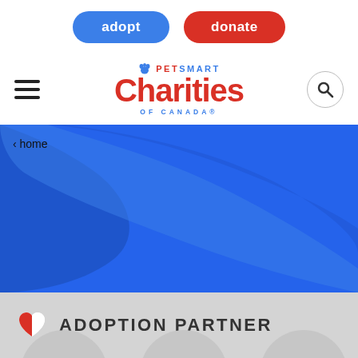adopt   donate
[Figure (logo): PetSmart Charities of Canada logo with hamburger menu and search icon]
‹ home
[Figure (illustration): Blue brushstroke hero background area]
ADOPTION PARTNER